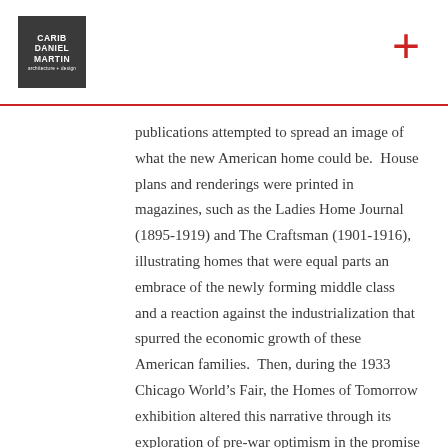CARIB DANIEL MARTIN / architecture design [logo] [red plus sign]
publications attempted to spread an image of what the new American home could be.  House plans and renderings were printed in magazines, such as the Ladies Home Journal (1895-1919) and The Craftsman (1901-1916), illustrating homes that were equal parts an embrace of the newly forming middle class and a reaction against the industrialization that spurred the economic growth of these American families.  Then, during the 1933 Chicago World’s Fair, the Homes of Tomorrow exhibition altered this narrative through its exploration of pre-war optimism in the promise of technology.
A decade later World War II began, and changed everything.  The war effort made great strides in